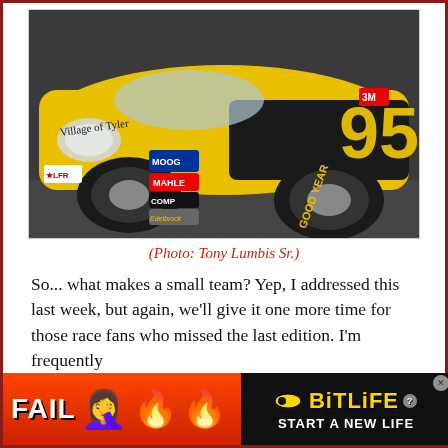[Figure (photo): Close-up photo of a yellow NASCAR race car numbered 95, with sponsor decals including MOOG, MAHLE, COMP, Edelbrock, 3M, and Goodyear tires. The car reads 'Village of Tyler' on the side.]
(Photo: Tony Lumbis Sr.)
So... what makes a small team? Yep, I addressed this last week, but again, we'll give it one more time for those race fans who missed the last edition. I'm frequently
[Figure (other): Advertisement banner for BitLife app. Shows FAIL text with face-palm emoji, flame emojis, and 'BitLife - START A NEW LIFE' text on dark background.]